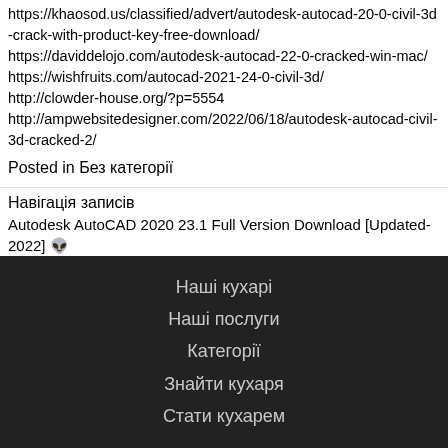https://khaosod.us/classified/advert/autodesk-autocad-20-0-civil-3d-crack-with-product-key-free-download/
https://daviddelojo.com/autodesk-autocad-22-0-cracked-win-mac/
https://wishfruits.com/autocad-2021-24-0-civil-3d/
http://clowder-house.org/?p=5554
http://ampwebsitedesigner.com/2022/06/18/autodesk-autocad-civil-3d-cracked-2/
Posted in Без категорії
Навігація записів
Autodesk AutoCAD 2020 23.1 Full Version Download [Updated-2022] 👽
AutoCAD Civil 3D Crack Activation Code For PC [Updated]
Наші кухарі
Наші послуги
Категорії
Знайти кухаря
Стати кухарем